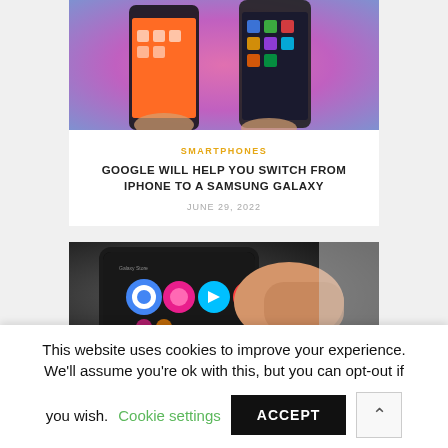[Figure (photo): Two smartphones held up against a pink/purple blurred background]
SMARTPHONES
GOOGLE WILL HELP YOU SWITCH FROM IPHONE TO A SAMSUNG GALAXY
JUNE 29, 2022
[Figure (photo): Hand holding a Samsung Galaxy smartphone showing app icons on screen]
This website uses cookies to improve your experience. We'll assume you're ok with this, but you can opt-out if you wish. Cookie settings ACCEPT